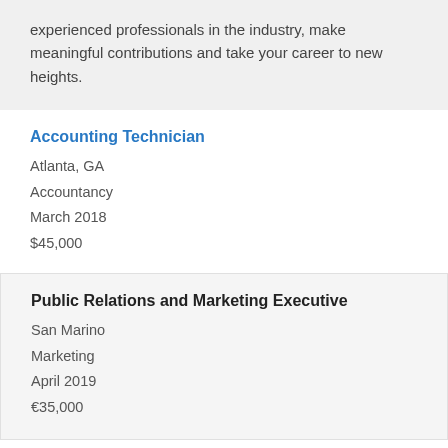experienced professionals in the industry, make meaningful contributions and take your career to new heights.
Accounting Technician
Atlanta, GA
Accountancy
March 2018
$45,000
Public Relations and Marketing Executive
San Marino
Marketing
April 2019
€35,000